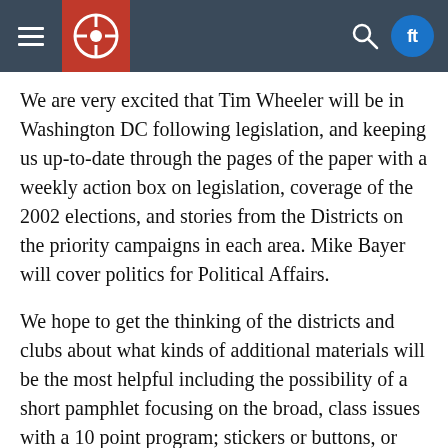Navigation header with hamburger menu, logo, search icon, and social media icons
We are very excited that Tim Wheeler will be in Washington DC following legislation, and keeping us up-to-date through the pages of the paper with a weekly action box on legislation, coverage of the 2002 elections, and stories from the Districts on the priority campaigns in each area. Mike Bayer will cover politics for Political Affairs.
We hope to get the thinking of the districts and clubs about what kinds of additional materials will be the most helpful including the possibility of a short pamphlet focusing on the broad, class issues with a 10 point program; stickers or buttons, or other ideas.
The National Convention in July adopted a proposal by Si Gerson for a conference to